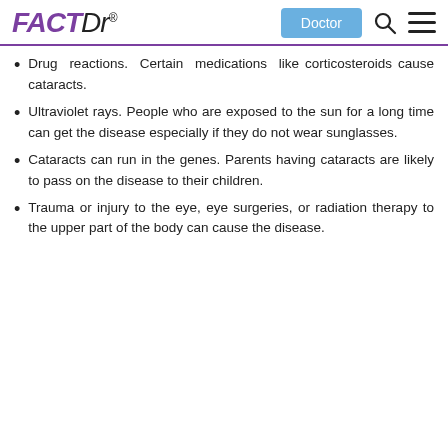FACTDr — Doctor | Search | Menu
Drug reactions. Certain medications like corticosteroids cause cataracts.
Ultraviolet rays. People who are exposed to the sun for a long time can get the disease especially if they do not wear sunglasses.
Cataracts can run in the genes. Parents having cataracts are likely to pass on the disease to their children.
Trauma or injury to the eye, eye surgeries, or radiation therapy to the upper part of the body can cause the disease.